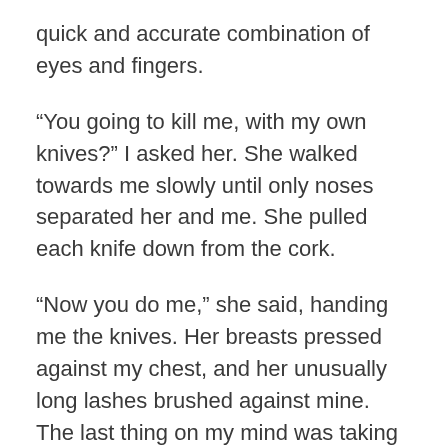quick and accurate combination of eyes and fingers.
“You going to kill me, with my own knives?” I asked her. She walked towards me slowly until only noses separated her and me. She pulled each knife down from the cork.
“Now you do me,” she said, handing me the knives. Her breasts pressed against my chest, and her unusually long lashes brushed against mine. The last thing on my mind was taking aim at her with a weapon, and she knew it.
Chiasa, my second wife, is a badass, a flawless-skinned, pretty-faced, thick-haired, doe-eyed